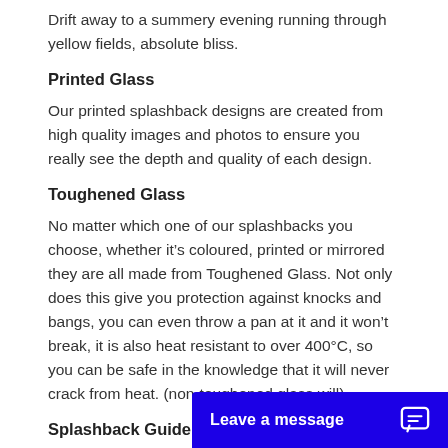Drift away to a summery evening running through yellow fields, absolute bliss.
Printed Glass
Our printed splashback designs are created from high quality images and photos to ensure you really see the depth and quality of each design.
Toughened Glass
No matter which one of our splashbacks you choose, whether it’s coloured, printed or mirrored they are all made from Toughened Glass. Not only does this give you protection against knocks and bangs, you can even throw a pan at it and it won’t break, it is also heat resistant to over 400°C, so you can be safe in the knowledge that it will never crack from heat. (non-toughened glass will).
Splashback Guide
Here at Pro Glass 4 we... create a bespoke glass s...